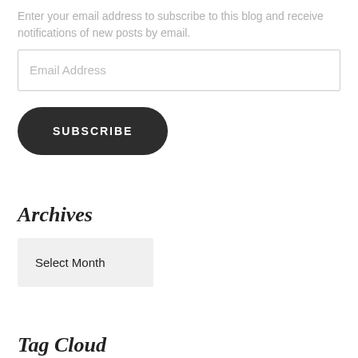Enter your email address to subscribe to this blog and receive notifications of new posts by email.
Email Address
SUBSCRIBE
Archives
Select Month
Tag Cloud
52 week nail art challenge  Black  Blue  Born Pretty Store  China Glaze